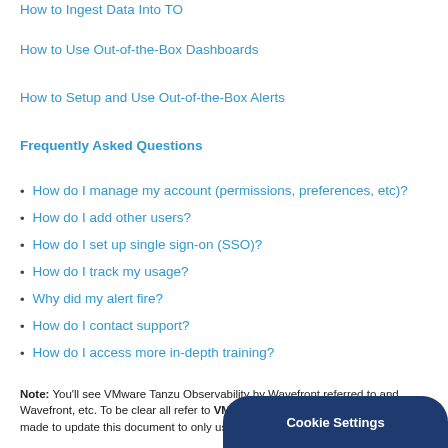How to Ingest Data Into TO
How to Use Out-of-the-Box Dashboards
How to Setup and Use Out-of-the-Box Alerts
Frequently Asked Questions
How do I manage my account (permissions, preferences, etc)?
How do I add other users?
How do I set up single sign-on (SSO)?
How do I track my usage?
Why did my alert fire?
How do I contact support?
How do I access more in-depth training?
Note: You'll see VMware Tanzu Observability by Wavefront referred to and Wavefront, etc. To be clear all refer to VMware Tanzu Observability by W made to update this document to only use the TO designation, screensho
Cookie Settings